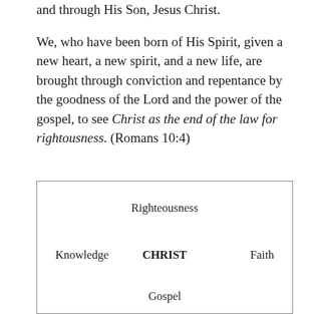and through His Son, Jesus Christ.

We, who have been born of His Spirit, given a new heart, a new spirit, and a new life, are brought through conviction and repentance by the goodness of the Lord and the power of the gospel, to see Christ as the end of the law for rightousness. (Romans 10:4)
[Figure (infographic): Diagram with border showing theological concepts: Righteousness at top center, Knowledge at left, CHRIST (bold) at center, Faith at right, Gospel at bottom center.]